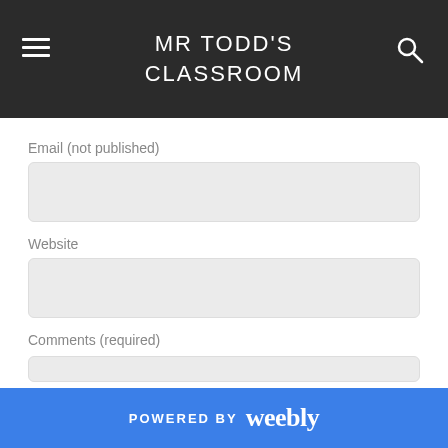MR TODD'S CLASSROOM
Email (not published)
Website
Comments (required)
POWERED BY weebly